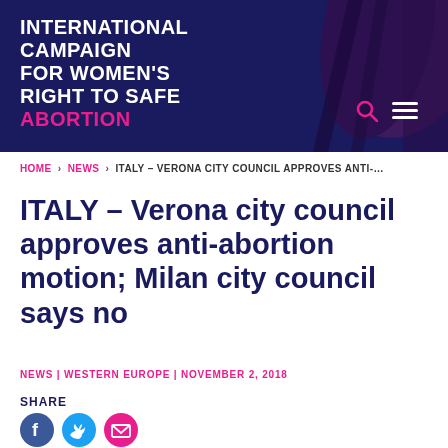[Figure (logo): International Campaign for Women's Right to Safe Abortion website header banner with dark navy background, decorative purple/dark shape on right side, white and pink logo text on left, search and menu icons.]
HOME > NEWS > ITALY – VERONA CITY COUNCIL APPROVES ANTI-…
ITALY – Verona city council approves anti-abortion motion; Milan city council says no
NEWS | WESTERN EUROPE | NOVEMBER 2, 2018
SHARE
[Figure (illustration): Three social media share icons: Facebook (blue circle with f), Twitter (light blue circle with bird), Email (pink circle with envelope)]